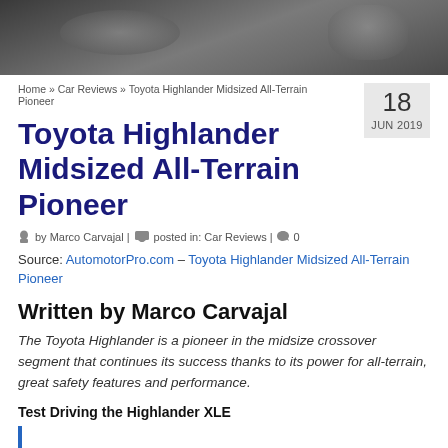[Figure (photo): Interior view of Toyota Highlander dashboard and steering wheel, dark tones]
Home » Car Reviews » Toyota Highlander Midsized All-Terrain Pioneer
Toyota Highlander Midsized All-Terrain Pioneer
18 JUN 2019
by Marco Carvajal | posted in: Car Reviews | 0
Source: AutomotorPro.com – Toyota Highlander Midsized All-Terrain Pioneer
Written by Marco Carvajal
The Toyota Highlander is a pioneer in the midsize crossover segment that continues its success thanks to its power for all-terrain, great safety features and performance.
Test Driving the Highlander XLE